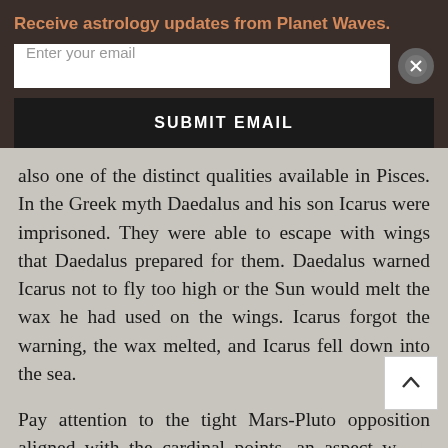Receive astrology updates from Planet Waves.
Enter your email
SUBMIT EMAIL
also one of the distinct qualities available in Pisces. In the Greek myth Daedalus and his son Icarus were imprisoned. They were able to escape with wings that Daedalus prepared for them. Daedalus warned Icarus not to fly too high or the Sun would melt the wax he had used on the wings. Icarus forgot the warning, the wax melted, and Icarus fell down into the sea.
Pay attention to the tight Mars-Pluto opposition aligned with the cardinal points, an aspect which adds some more explosive energy to this lunation. The cardinal points are the first degrees of the